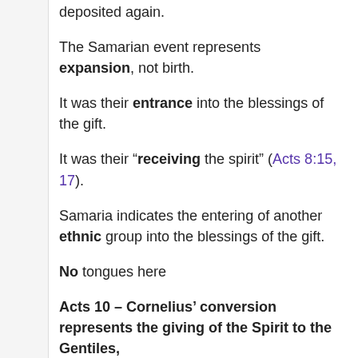deposited again.
The Samarian event represents expansion, not birth.
It was their entrance into the blessings of the gift.
It was their “receiving the spirit” (Acts 8:15, 17).
Samaria indicates the entering of another ethnic group into the blessings of the gift.
No tongues here
Acts 10 – Cornelius’ conversion represents the giving of the Spirit to the Gentiles,